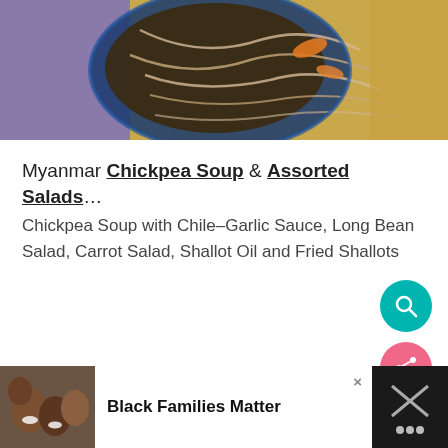[Figure (photo): Food photo showing a bowl of Myanmar chickpea soup with salads, noodles in a blue bowl on a textured background]
Myanmar Chickpea Soup & Assorted Salads…
Chickpea Soup with Chile–Garlic Sauce, Long Bean Salad, Carrot Salad, Shallot Oil and Fried Shallots
[Figure (screenshot): Advertisement banner: Black Families Matter with photo of smiling family]
[Figure (other): Teal circular search button with magnifying glass icon]
[Figure (other): Pink/coral circular share button with share icon]